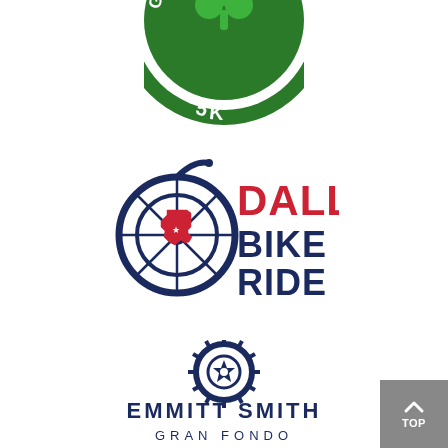[Figure (logo): Greenville 5K circular logo with green shamrock and white text on green border]
[Figure (logo): Dallas Bike Ride logo: dark navy bicycle wheel with red Texas state outline inside, 'DALLAS' in red bold text and 'BIKE RIDE' in navy bold text]
[Figure (logo): Emmitt Smith Gran Fondo logo: dark navy bicycle gear/sprocket icon above text 'EMMITT SMITH' in navy and 'GRAN FONDO' in smaller navy spaced letters]